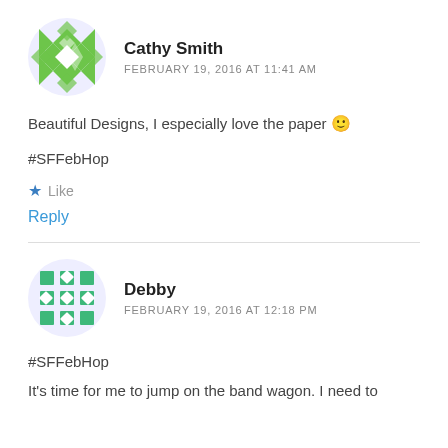[Figure (illustration): Green geometric quilt-pattern avatar for Cathy Smith]
Cathy Smith
FEBRUARY 19, 2016 AT 11:41 AM
Beautiful Designs, I especially love the paper 🙂
#SFFebHop
★ Like
Reply
[Figure (illustration): Green dotted grid-pattern avatar for Debby]
Debby
FEBRUARY 19, 2016 AT 12:18 PM
#SFFebHop
It's time for me to jump on the band wagon. I need to